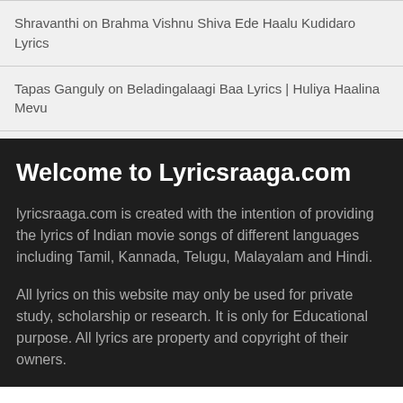Shravanthi on Brahma Vishnu Shiva Ede Haalu Kudidaro Lyrics
Tapas Ganguly on Beladingalaagi Baa Lyrics | Huliya Haalina Mevu
Welcome to Lyricsraaga.com
lyricsraaga.com is created with the intention of providing the lyrics of Indian movie songs of different languages including Tamil, Kannada, Telugu, Malayalam and Hindi.
All lyrics on this website may only be used for private study, scholarship or research. It is only for Educational purpose. All lyrics are property and copyright of their owners.